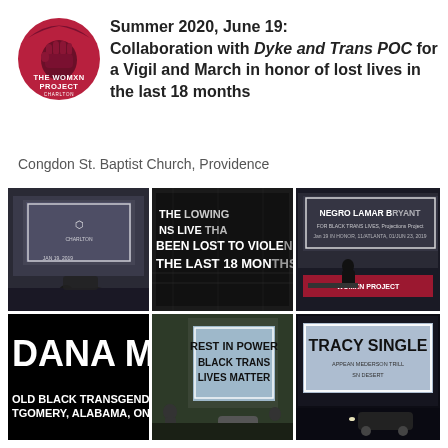[Figure (logo): The Womxn Project circular logo, red/maroon circle with white text]
Summer 2020, June 19: Collaboration with Dyke and Trans POC for a Vigil and March in honor of lost lives in the last 18 months
Congdon St. Baptist Church, Providence
[Figure (photo): Six event photos arranged in a 3x2 grid showing projected names and text on buildings during a vigil and march. Images include projections reading 'BEEN LOST TO VIOLENCE THE LAST 18 MONTHS', 'DANA MARTI[N] OLD BLACK TRANSGENDER WOMAN [MONTGOMERY, ALABAMA, ON JANUARY 6,]', 'REST IN POWER BLACK TRANS LIVES MATTER', 'TRACY SINGLE', and crowd scenes.]